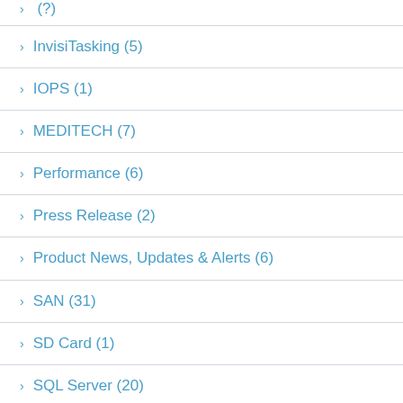> InvisiTasking (5)
> IOPS (1)
> MEDITECH (7)
> Performance (6)
> Press Release (2)
> Product News, Updates & Alerts (6)
> SAN (31)
> SD Card (1)
> SQL Server (20)
> SSD (1)